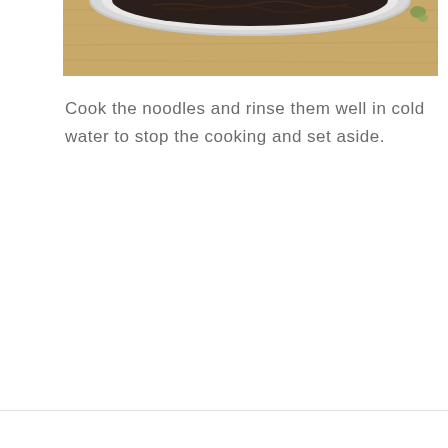[Figure (photo): A close-up photo of dark soba noodles in a silver/metallic bowl, viewed from above at an angle showing the rim of the bowl. The background shows a wooden surface.]
Cook the noodles and rinse them well in cold water to stop the cooking and set aside.